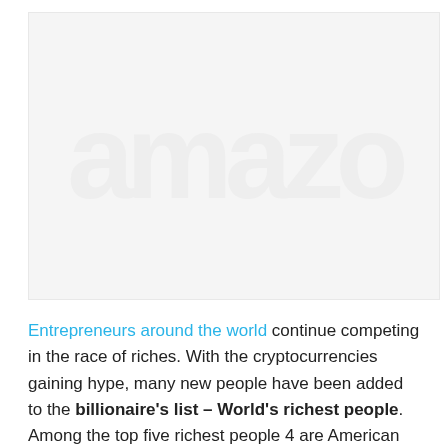[Figure (photo): Large image placeholder with light gray background showing a faint watermark/text overlay in very light gray, bordered by a thin light border.]
Entrepreneurs around the world continue competing in the race of riches. With the cryptocurrencies gaining hype, many new people have been added to the billionaire's list – World's richest people. Among the top five richest people 4 are American and 1 is French. Not to forget that